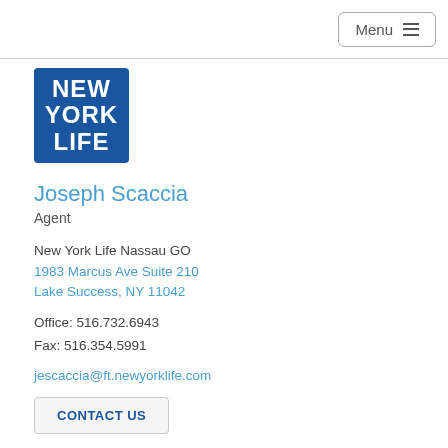Menu
[Figure (logo): New York Life logo — blue square with white text reading NEW YORK LIFE]
Joseph Scaccia
Agent
New York Life Nassau GO
1983 Marcus Ave Suite 210
Lake Success, NY 11042
Office: 516.732.6943
Fax: 516.354.5991
jescaccia@ft.newyorklife.com
CONTACT US
[Figure (logo): Facebook and LinkedIn social media icons]